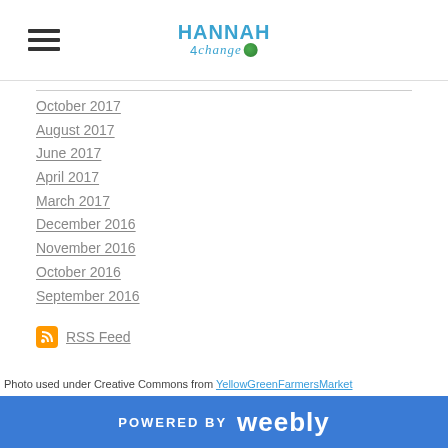Hannah 4Change [logo with hamburger menu]
October 2017
August 2017
June 2017
April 2017
March 2017
December 2016
November 2016
October 2016
September 2016
RSS Feed
Photo used under Creative Commons from YellowGreenFarmersMarket
POWERED BY weebly